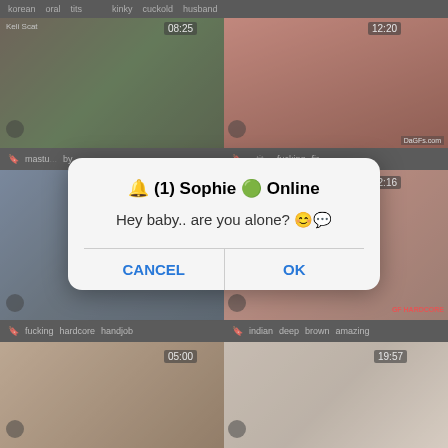[Figure (screenshot): Mobile browser screenshot showing a grid of video thumbnails from an adult website with a dialog box overlay]
🔔 (1) Sophie 🟢 Online
Hey baby.. are you alone? 😊💬
CANCEL
OK